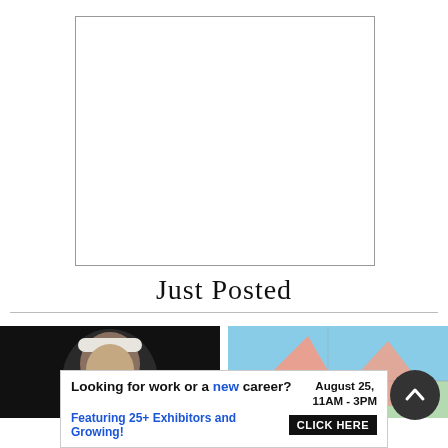[Figure (other): Empty white rectangle with thin border, likely an advertisement placeholder]
Just Posted
[Figure (photo): Left thumbnail: photo of a person wearing a white knit headband/hat against a dark background]
[Figure (photo): Right thumbnail: colorful map or illustration with pink/salmon triangular shapes on blue/teal background]
[Figure (other): Dark circular scroll-to-top button with chevron/caret icon pointing upward]
Looking for work or a new career? August 25, 11AM - 3PM Featuring 25+ Exhibitors and Growing! CLICK HERE